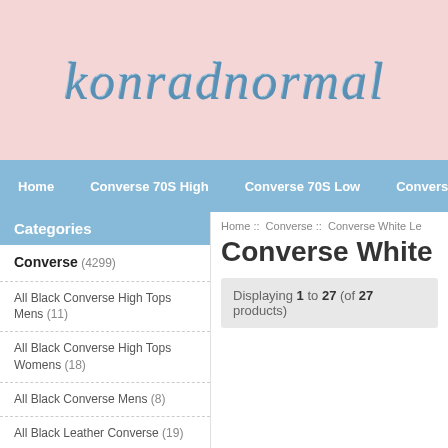konradnormal
Home  Converse 70S High  Converse 70S Low  Converse All Star Da
Categories
Home :: Converse :: Converse White Le
Converse White Le
Converse (4299)
All Black Converse High Tops Mens (11)
All Black Converse High Tops Womens (18)
All Black Converse Mens (8)
All Black Leather Converse (19)
All Black Leather Converse High Tops (18)
Displaying 1 to 27 (of 27 products)